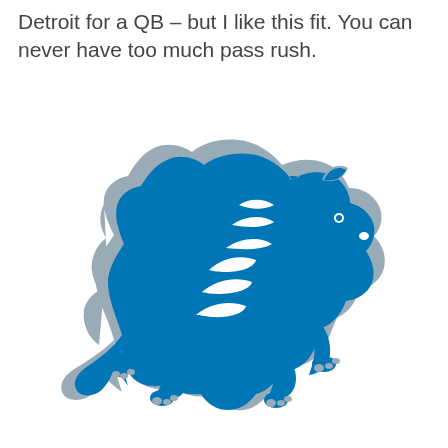Detroit for a QB – but I like this fit. You can never have too much pass rush.
[Figure (logo): Detroit Lions NFL team logo — a blue lion in a leaping/rearing pose with a grey outline, facing right]